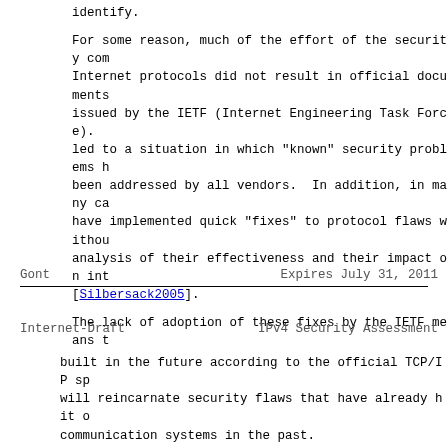identify.
For some reason, much of the effort of the security com Internet protocols did not result in official documents issued by the IETF (Internet Engineering Task Force). led to a situation in which "known" security problems h been addressed by all vendors.  In addition, in many ca have implemented quick "fixes" to protocol flaws withou analysis of their effectiveness and their impact on int [Silbersack2005].
The lack of adoption of these fixes by the IETF means t
Gont                        Expires July 31, 2011
Internet-Draft          IPv4 Security Assessment
built in the future according to the official TCP/IP sp will reincarnate security flaws that have already hit o communication systems in the past.
Producing a secure TCP/IP implementation nowadays is a task, in part because of the lack of a single document a security roadmap for the protocols.  Implementers are the hard task of identifying relevant documentation and between that which provides correct advisory, and that